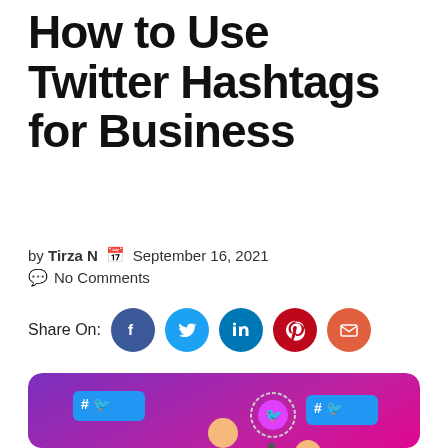How to Use Twitter Hashtags for Business
by Tirza N  🗓 September 16, 2021
💬 No Comments
Share On:
[Figure (illustration): Illustration on a purple-to-pink gradient background showing two people (one standing, one sitting with a laptop) surrounded by Twitter/hashtag icons, gear icons, coins, charts, and '#🐦' speech bubbles in blue.]